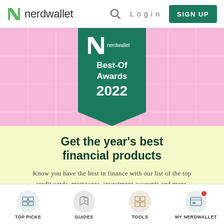nerdwallet  Log in  SIGN UP
[Figure (logo): NerdWallet Best-Of Awards 2022 green ribbon badge on pink grid background]
Get the year's best financial products
Know you have the best in finance with our list of the top credit cards, mortgages, investment accounts and more, curated by our team of nerds.
TOP PICKS  GUIDES  TOOLS  MY NERDWALLET